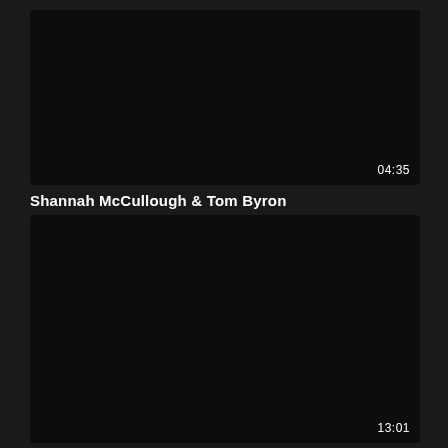[Figure (screenshot): Black video thumbnail with duration 04:35 in bottom right corner]
Shannah McCullough & Tom Byron
[Figure (screenshot): Black video thumbnail with duration 13:01 in bottom right corner]